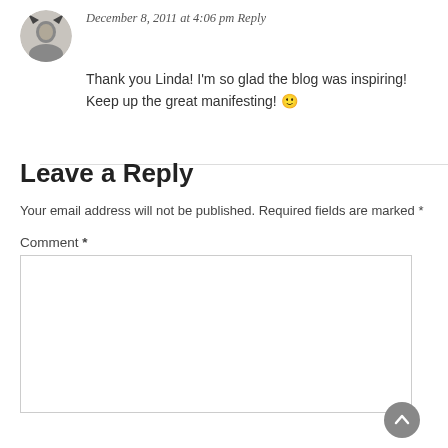December 8, 2011 at 4:06 pm Reply
Thank you Linda! I'm so glad the blog was inspiring! Keep up the great manifesting! 🙂
Leave a Reply
Your email address will not be published. Required fields are marked *
Comment *